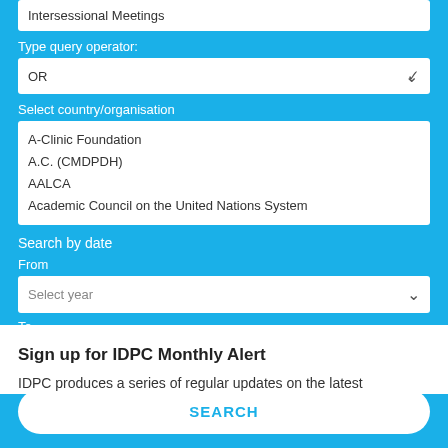Intersessional Meetings
Type query operator:
OR
Select country/organisation
A-Clinic Foundation
A.C. (CMDPDH)
AALCA
Academic Council on the United Nations System
Search by date
From
Select year
To
Select year
SEARCH
Sign up for IDPC Monthly Alert
IDPC produces a series of regular updates on the latest